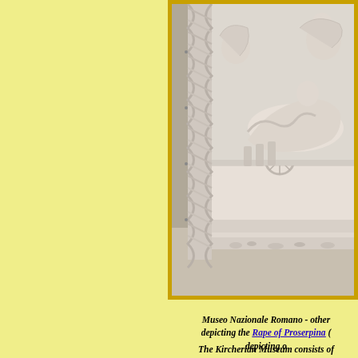[Figure (photo): Partial view of a marble Roman sarcophagus relief sculpture showing figures in a chariot scene with decorative twisted column on the left side, displayed at the Museo Nazionale Romano. The relief shows mythological figures including what appears to be the Rape of Proserpina. The sculpture is framed with a gold/amber border.]
Museo Nazionale Romano - other depicting the Rape of Proserpina ( depicting o
The Kircherian Museum consists of